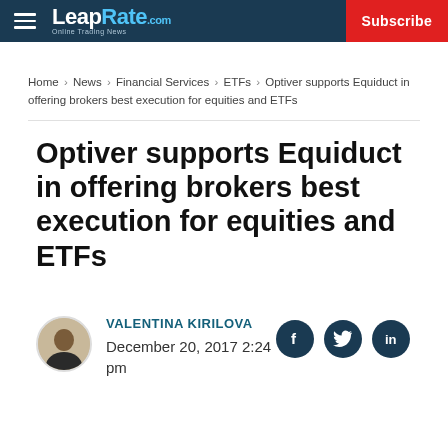LeapRate.com | Subscribe
Home › News › Financial Services › ETFs › Optiver supports Equiduct in offering brokers best execution for equities and ETFs
Optiver supports Equiduct in offering brokers best execution for equities and ETFs
VALENTINA KIRILOVA
December 20, 2017 2:24 pm